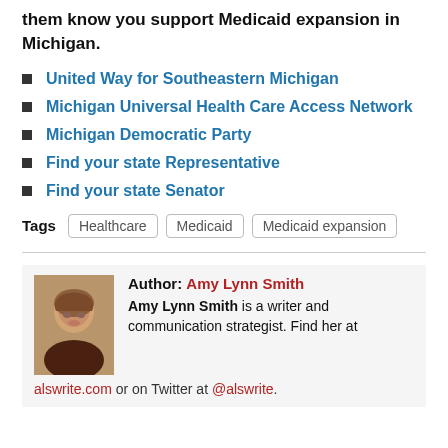them know you support Medicaid expansion in Michigan.
United Way for Southeastern Michigan
Michigan Universal Health Care Access Network
Michigan Democratic Party
Find your state Representative
Find your state Senator
Tags: Healthcare, Medicaid, Medicaid expansion
Author: Amy Lynn Smith
Amy Lynn Smith is a writer and communication strategist. Find her at alswrite.com or on Twitter at @alswrite.